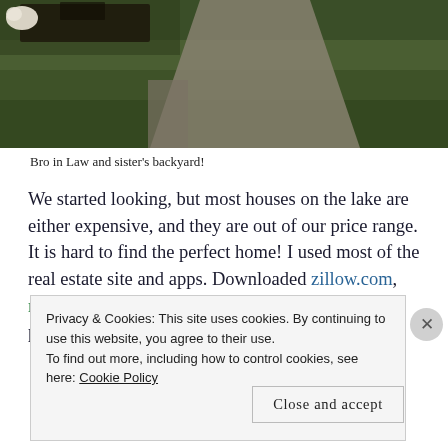[Figure (photo): Outdoor backyard scene with green lawn, stone pathway, patio furniture, and a white dog visible in the upper left area]
Bro in Law and sister's backyard!
We started looking, but most houses on the lake are either expensive, and they are out of our price range. It is hard to find the perfect home! I used most of the real estate site and apps. Downloaded zillow.com, realtor.com, and redfin.com on my phone. But one perfect weekend, I
Privacy & Cookies: This site uses cookies. By continuing to use this website, you agree to their use.
To find out more, including how to control cookies, see here: Cookie Policy